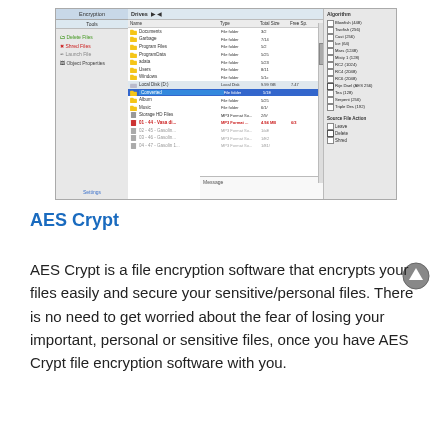[Figure (screenshot): Screenshot of a file encryption software application showing a file browser with left panel (Encryption, Tools, Delete Files, Shred Files, Launch File, Object Properties, Settings), a main drives panel listing folders and Local Disk (D:) with files including one highlighted in blue (Converted) and one in red, and a right panel with Algorithm checkboxes (Blowfish, Twofish, Cast, Ice, Mars, Misty 1, RC2, RC4, RC6, Rijn Dael AES 256, Tea, Serpent, Triple Des) and Source File Action (Leave, Delete, Shred).]
AES Crypt
AES Crypt is a file encryption software that encrypts your files easily and secure your sensitive/personal files. There is no need to get worried about the fear of losing your important, personal or sensitive files, once you have AES Crypt file encryption software with you.